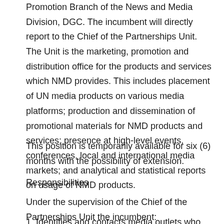Promotion Branch of the News and Media Division, DGC. The incumbent will directly report to the Chief of the Partnerships Unit. The Unit is the marketing, promotion and distribution office for the products and services which NMD provides. This includes placement of UN media products on various media platforms; production and dissemination of promotional materials for NMD products and services; presence at high-level events, conferences, local and international media markets; and analytical and statistical reports on usage of NMD products.
This position is temporarily available for six (6) months with the possibility of extension.
Responsibilities
Under the supervision of the Chief of the Partnerships Unit the incumbent:
1. Identifies and contacts media outlets who may be potential